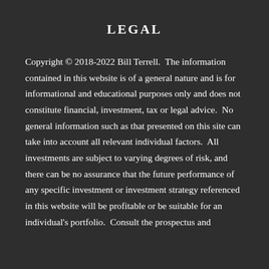LEGAL
Copyright © 2018-2022 Bill Terrell.  The information contained in this website is of a general nature and is for informational and educational purposes only and does not constitute financial, investment, tax or legal advice.  No general information such as that presented on this site can take into account all relevant individual factors.  All investments are subject to varying degrees of risk, and there can be no assurance that the future performance of any specific investment or investment strategy referenced in this website will be profitable or be suitable for an individual's portfolio.  Consult the prospectus and